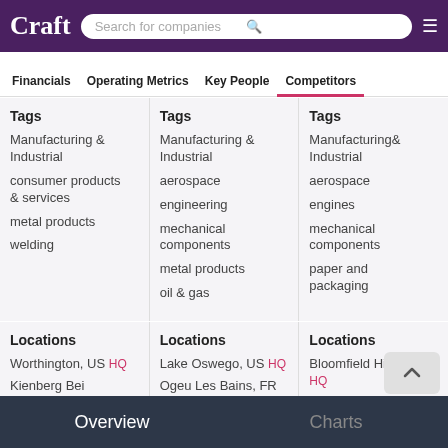Craft — Search for companies
Financials | Operating Metrics | Key People | Competitors
| Tags | Tags | Tags |
| --- | --- | --- |
| Manufacturing & Industrial | Manufacturing & Industrial | Manufacturing & Industrial |
| consumer products & services | aerospace | aerospace |
| metal products | engineering | engines |
| welding | mechanical components | mechanical components |
|  | metal products | paper and packaging |
|  | oil & gas |  |
| Locations | Locations | Locations |
| --- | --- | --- |
| Worthington, US HQ | Lake Oswego, US HQ | Bloomfield Hills HQ |
| Kienberg Bei | Ogeu Les Bains, FR |  |
Overview   Charts